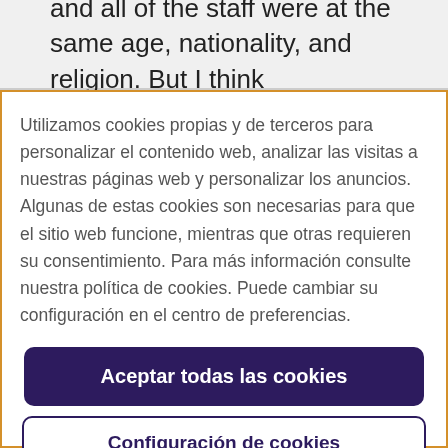and all of the staff were at the same age, nationality, and religion. But I think
Utilizamos cookies propias y de terceros para personalizar el contenido web, analizar las visitas a nuestras páginas web y personalizar los anuncios. Algunas de estas cookies son necesarias para que el sitio web funcione, mientras que otras requieren su consentimiento. Para más información consulte nuestra política de cookies. Puede cambiar su configuración en el centro de preferencias.
Aceptar todas las cookies
Configuración de cookies